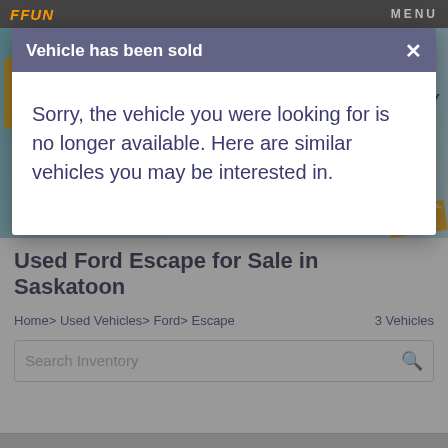FFUN | MENU
Vehicle has been sold
Sorry, the vehicle you were looking for is no longer available. Here are similar vehicles you may be interested in.
[Figure (infographic): Orange Tag Days banner: 40 MILLION IN USED INVENTORY. Used rates as low as 1.99%, $3,000 guaranteed minimum trade value, You could WIN $6,000 in FREE gas. Extended until SEPT 10th. Shows vehicles including trucks, SUV, boat, ATV, motorcycle.]
Used Ford Escape for Sale in Saskatoon
Home > Used Vehicles > Ford > Escape   3 Vehicles
Search Inventory